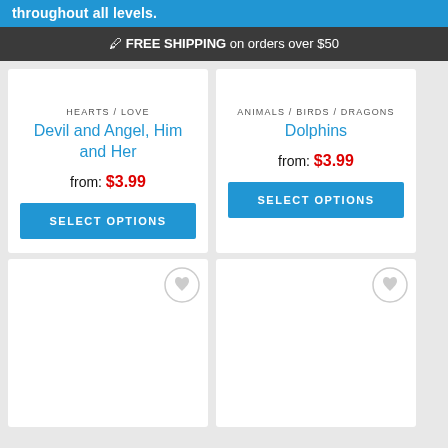throughout all levels.
🖊 FREE SHIPPING on orders over $50
HEARTS / LOVE
Devil and Angel, Him and Her
from: $3.99
ANIMALS / BIRDS / DRAGONS
Dolphins
from: $3.99